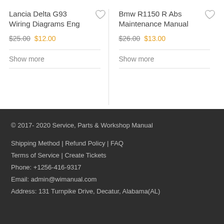Lancia Delta G93 Wiring Diagrams Eng
$25.00 $12.00
Show more
Bmw R1150 R Abs Maintenance Manual
$26.00 $13.00
Show more
© 2017- 2020 Service, Parts & Workshop Manual
Shipping Method | Refund Policy | FAQ
Terms of Service | Create Tickets
Phone: +1256-416-9317
Email: admin@wimanual.com
Address: 131 Turnpike Drive, Decatur, Alabama(AL)